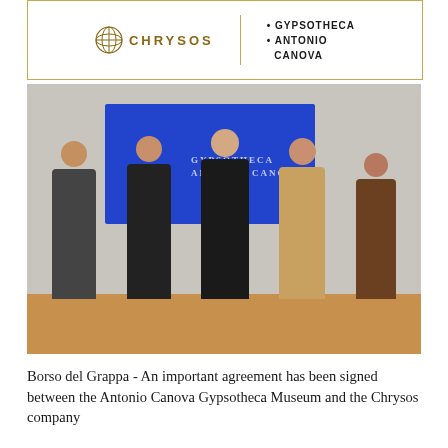[Figure (logo): Header box with Chrysos company logo (decorative globe icon and CHRYSOS text in gold) on the left, and GYPSOTHECA • ANTONIO CANOVA text on the right, separated by a vertical gold line, all within a gold-bordered rectangle.]
[Figure (photo): Group photo of five people standing together in front of a large blue screen displaying the Gypsotheca logo. From left to right: a young man in a dark jacket, a man in a dark blazer, a central man with grey hair in a dark suit, a larger man in a tan/beige jacket, and a woman in a brown jacket. They are standing in front of a wooden conference table.]
Borso del Grappa - An important agreement has been signed between the Antonio Canova Gypsotheca Museum and the Chrysos company